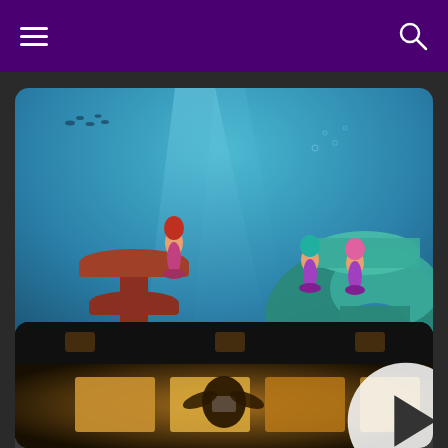Navigation header with hamburger menu and search icon
[Figure (screenshot): Animated underwater scene with mermaids sitting on coral rocks in a colorful ocean setting]
🏆 Mermaid Power Official Movie Still
added by Keira17
[Figure (screenshot): Dark interior scene with golden floor tiles and a person taking a selfie, with a play button overlay]